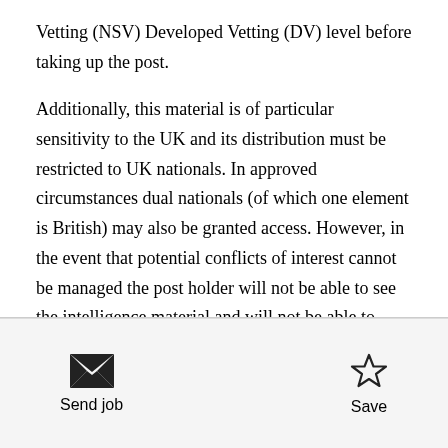Vetting (NSV) Developed Vetting (DV) level before taking up the post.

Additionally, this material is of particular sensitivity to the UK and its distribution must be restricted to UK nationals. In approved circumstances dual nationals (of which one element is British) may also be granted access. However, in the event that potential conflicts of interest cannot be managed the post holder will not be able to see the intelligence material and will not be able to perform their duties. For the purpose of safeguarding national security and in line with Cabinet Office Policy, enacted by Section 82(2) t...
Send job | Save